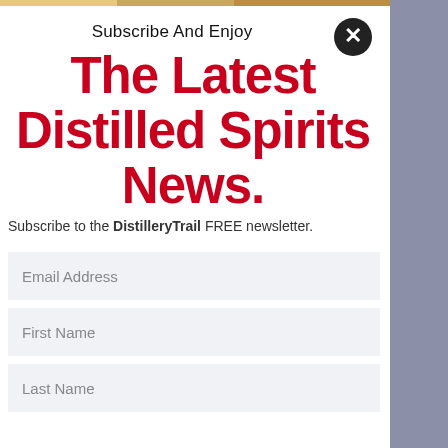Subscribe And Enjoy
The Latest Distilled Spirits News.
Subscribe to the DistilleryTrail FREE newsletter.
Email Address
First Name
Last Name
Company
Subscribe Now!
No, thank you.